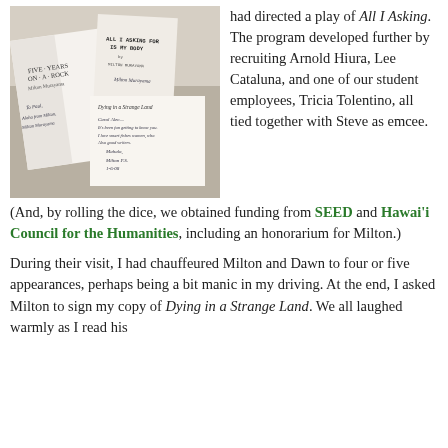[Figure (photo): Photo of several books/pamphlets with handwritten inscriptions, including 'Five Years on a Rock' by Milton Murayama, 'All I Asking For Is My Body' by Milton Murayama, and 'Dying in a Strange Land', all open showing title pages with handwritten dedications.]
had directed a play of All I Asking. The program developed further by recruiting Arnold Hiura, Lee Cataluna, and one of our student employees, Tricia Tolentino, all tied together with Steve as emcee.
(And, by rolling the dice, we obtained funding from SEED and Hawai'i Council for the Humanities, including an honorarium for Milton.)
During their visit, I had chauffeured Milton and Dawn to four or five appearances, perhaps being a bit manic in my driving. At the end, I asked Milton to sign my copy of Dying in a Strange Land. We all laughed warmly as I read his